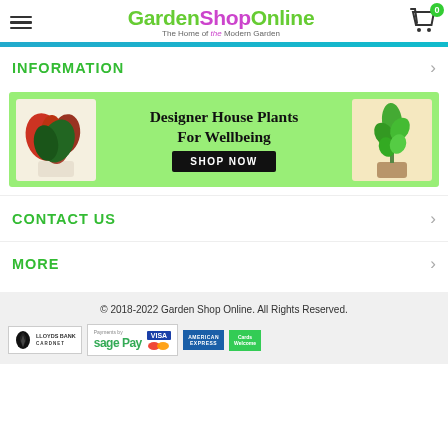GardenShopOnline — The Home of the Modern Garden
INFORMATION
[Figure (infographic): Banner ad showing Designer House Plants For Wellbeing with two plant photos and a SHOP NOW button on a green background]
CONTACT US
MORE
© 2018-2022 Garden Shop Online. All Rights Reserved.
[Figure (logo): Lloyds Bank Cardnet, Payments by Sage Pay with Visa and Mastercard logos, American Express Cards Welcome logos]